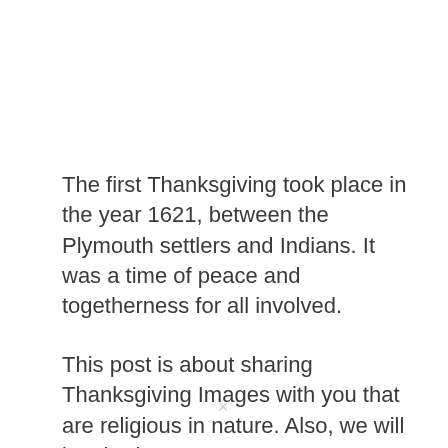The first Thanksgiving took place in the year 1621, between the Plymouth settlers and Indians. It was a time of peace and togetherness for all involved.
This post is about sharing Thanksgiving Images with you that are religious in nature. Also, we will be sharing some Happy Thanksgiving Wishes that you can send to your friends and family members.